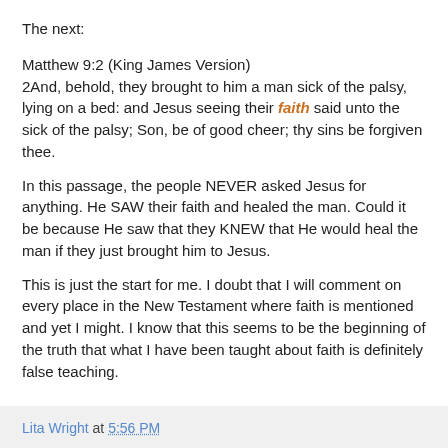The next:
Matthew 9:2 (King James Version)
2And, behold, they brought to him a man sick of the palsy, lying on a bed: and Jesus seeing their faith said unto the sick of the palsy; Son, be of good cheer; thy sins be forgiven thee.
In this passage, the people NEVER asked Jesus for anything. He SAW their faith and healed the man. Could it be because He saw that they KNEW that He would heal the man if they just brought him to Jesus.
This is just the start for me. I doubt that I will comment on every place in the New Testament where faith is mentioned and yet I might. I know that this seems to be the beginning of the truth that what I have been taught about faith is definitely false teaching.
Lita Wright at 5:56 PM